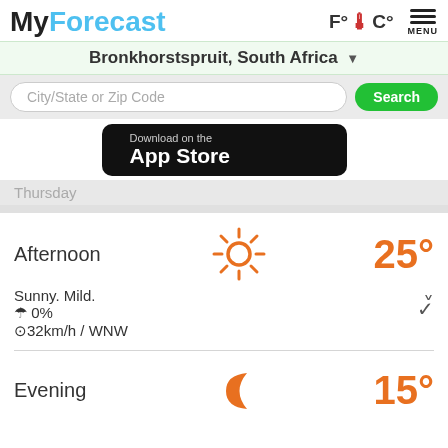MyForecast
Bronkhorstspruit, South Africa
City/State or Zip Code
[Figure (screenshot): Download on the App Store button]
Thursday
Afternoon  25°
Sunny. Mild.
0%
32km/h / WNW
Evening  15°